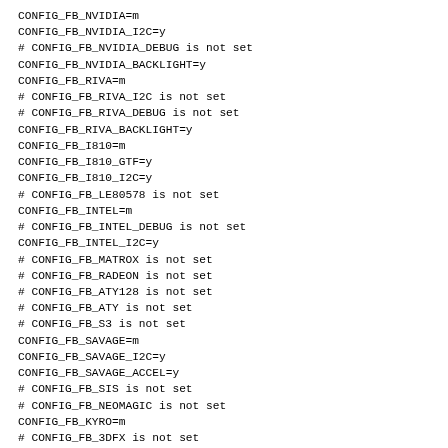CONFIG_FB_NVIDIA=m
CONFIG_FB_NVIDIA_I2C=y
# CONFIG_FB_NVIDIA_DEBUG is not set
CONFIG_FB_NVIDIA_BACKLIGHT=y
CONFIG_FB_RIVA=m
# CONFIG_FB_RIVA_I2C is not set
# CONFIG_FB_RIVA_DEBUG is not set
CONFIG_FB_RIVA_BACKLIGHT=y
CONFIG_FB_I810=m
CONFIG_FB_I810_GTF=y
CONFIG_FB_I810_I2C=y
# CONFIG_FB_LE80578 is not set
CONFIG_FB_INTEL=m
# CONFIG_FB_INTEL_DEBUG is not set
CONFIG_FB_INTEL_I2C=y
# CONFIG_FB_MATROX is not set
# CONFIG_FB_RADEON is not set
# CONFIG_FB_ATY128 is not set
# CONFIG_FB_ATY is not set
# CONFIG_FB_S3 is not set
CONFIG_FB_SAVAGE=m
CONFIG_FB_SAVAGE_I2C=y
CONFIG_FB_SAVAGE_ACCEL=y
# CONFIG_FB_SIS is not set
# CONFIG_FB_NEOMAGIC is not set
CONFIG_FB_KYRO=m
# CONFIG_FB_3DFX is not set
# CONFIG_FB_VOODOO1 is not set
# CONFIG_FB_VT8623 is not set
CONFIG_FB_CYBLA=m